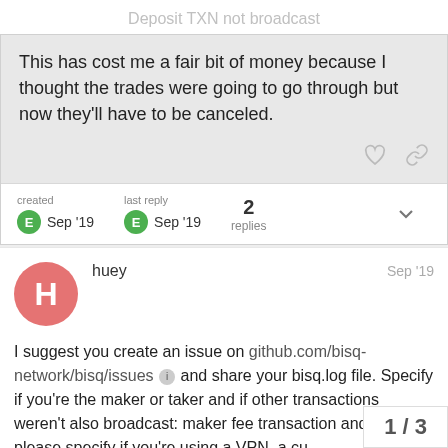Deposit TXN not broadcast
This has cost me a fair bit of money because I thought the trades were going to go through but now they'll have to be canceled.
created  Sep '19    last reply  Sep '19    2 replies
huey    Sep '19
I suggest you create an issue on github.com/bisq-network/bisq/issues and share your bisq.log file. Specify if you're the maker or taker and if other transactions weren't also broadcast: maker fee transaction and take please specify if you're using a VPN, a cu
1 / 3